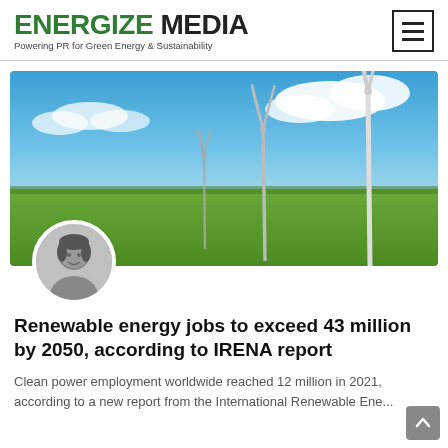ENERGIZE MEDIA — Powering PR for Green Energy & Sustainability
[Figure (photo): Wind farm with multiple wind turbines on a flat green agricultural field under a bright blue sky with white clouds. A circular author avatar portrait (black and white photo of a young Asian woman smiling) overlays the bottom-left of the image.]
Renewable energy jobs to exceed 43 million by 2050, according to IRENA report
Clean power employment worldwide reached 12 million in 2021, according to a new report from the International Renewable Energy...